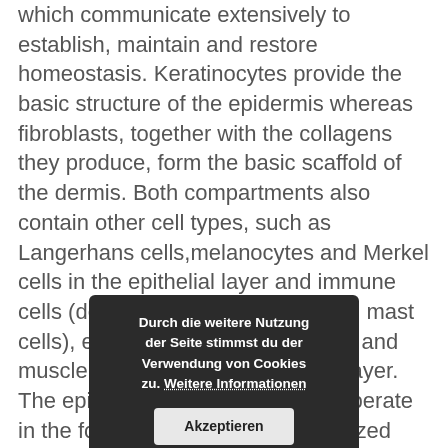which communicate extensively to establish, maintain and restore homeostasis. Keratinocytes provide the basic structure of the epidermis whereas fibroblasts, together with the collagens they produce, form the basic scaffold of the dermis. Both compartments also contain other cell types, such as Langerhans cells,melanocytes and Merkel cells in the epithelial layer and immune cells (dendritic cells, macrophages, mast cells), endothelial cells, adipocytes and muscle cells in the mesenchymal layer. The epidermis and the dermis cooperate in the formation of a highly specialized extracellular matrix structure, the basement membrane zone, which physically separates these two compartments. In recent years it has become increasingly clear that the different skin cell types have a profound functional influence on each other and that an extensive
[Figure (other): Cookie consent overlay dialog in German: 'Durch die weitere Nutzung der Seite stimmst du der Verwendung von Cookies zu. Weitere Informationen' with an 'Akzeptieren' button.]